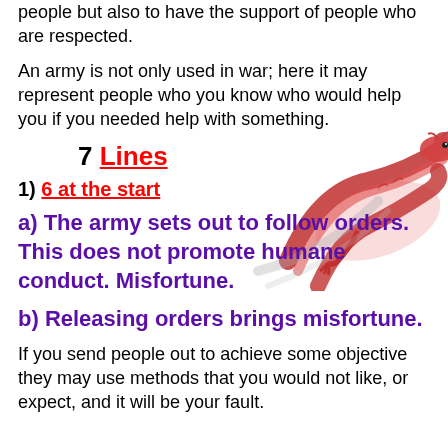people but also to have the support of people who are respected.
An army is not only used in war; here it may represent people who you know who would help you if you needed help with something.
7 Lines
1) 6 at the start
a) The army sets out to follow orders. This does not promote humane conduct. Misfortune.
b) Releasing orders brings misfortune.
If you send people out to achieve some objective they may use methods that you would not like, or expect, and it will be your fault.